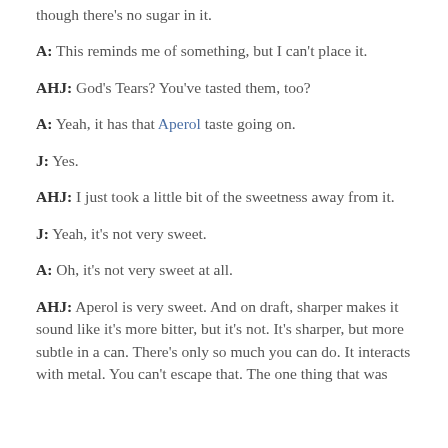though there's no sugar in it.
A: This reminds me of something, but I can't place it.
AHJ: God's Tears? You've tasted them, too?
A: Yeah, it has that Aperol taste going on.
J: Yes.
AHJ: I just took a little bit of the sweetness away from it.
J: Yeah, it's not very sweet.
A: Oh, it's not very sweet at all.
AHJ: Aperol is very sweet. And on draft, sharper makes it sound like it's more bitter, but it's not. It's sharper, but more subtle in a can. There's only so much you can do. It interacts with metal. You can't escape that. The one thing that was